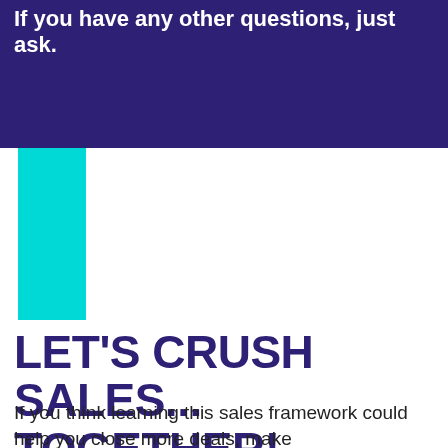If you have any other questions, just ask.
[Figure (illustration): Cyan/teal vertical rectangle decorative bar on white background]
LET'S CRUSH SALES... TOGETHER!
If you think learning this sales framework could help you close more deals, make